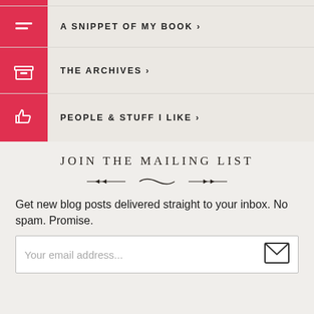A SNIPPET OF MY BOOK >
THE ARCHIVES >
PEOPLE & STUFF I LIKE >
JOIN THE MAILING LIST
Get new blog posts delivered straight to your inbox. No spam. Promise.
Your email address...